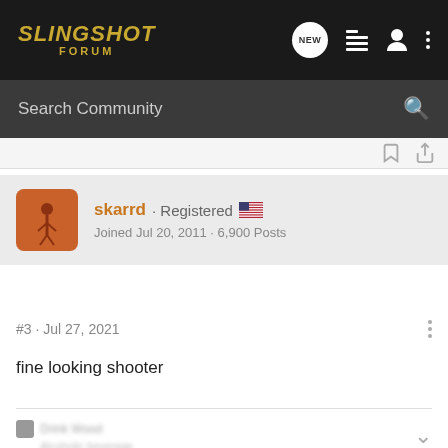SLINGSHOT FORUM
Search Community
skarrd · Registered
Joined Jul 20, 2011 · 6,900 Posts
#3 · Jul 27, 2021
fine looking shooter